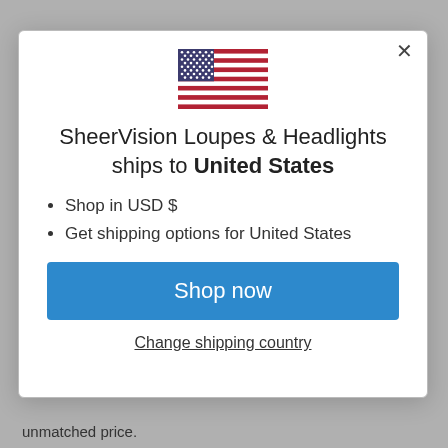[Figure (illustration): US flag emoji illustration centered in modal]
SheerVision Loupes & Headlights ships to United States
Shop in USD $
Get shipping options for United States
Shop now
Change shipping country
unmatched price.